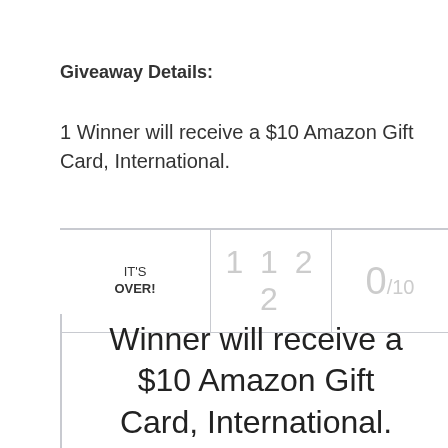Giveaway Details:
1 Winner will receive a $10 Amazon Gift Card, International.
| IT'S OVER! | 1 1 2 2 | 0/10 |
| --- | --- | --- |
Winner will receive a $10 Amazon Gift Card, International.